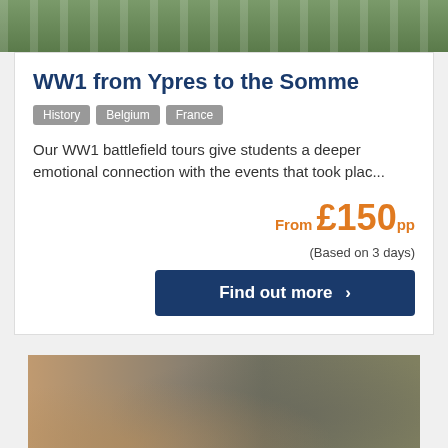[Figure (photo): Top portion of a war memorial or cemetery scene with green grass and white crosses visible]
WW1 from Ypres to the Somme
History | Belgium | France
Our WW1 battlefield tours give students a deeper emotional connection with the events that took plac...
From £150pp (Based on 3 days)
Find out more >
[Figure (photo): Museum exhibit showing a mannequin figure beside a vintage military vehicle]